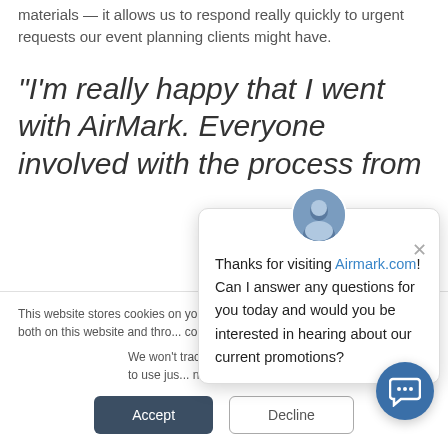materials — it allows us to respond really quickly to urgent requests our event planning clients might have.
"I'm really happy that I went with AirMark. Everyone involved with the process from
This website stores cookies on yo... improve your website experience ... you, both on this website and thro... cookies we use, see our Privacy P...
We won't track your ... site. But in order to ... we'll have to use jus... not asked to make this choice again.
[Figure (screenshot): Chat popup with avatar image, close button (×), and message: Thanks for visiting Airmark.com! Can I answer any questions for you today and would you be interested in hearing about our current promotions?]
Accept  Decline